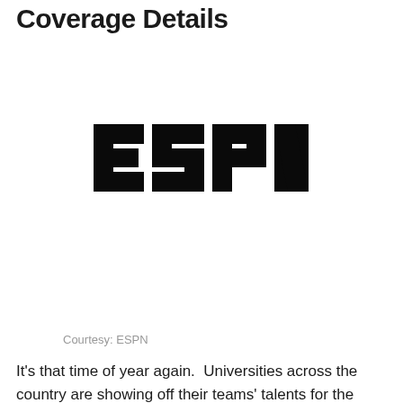Coverage Details
[Figure (logo): ESPN logo in black bold block letters on white background]
Courtesy: ESPN
It's that time of year again.  Universities across the country are showing off their teams' talents for the upcoming season of college football later in the year with Spring